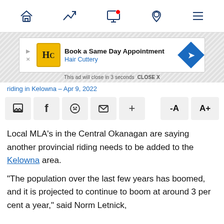Navigation bar with home, trending, notifications, location, and menu icons
[Figure (screenshot): Advertisement banner for Hair Cuttery: Book a Same Day Appointment]
This ad will close in 3 seconds  CLOSE X
riding in Kelowna – Apr 9, 2022
[Figure (screenshot): Social sharing toolbar with comment, Facebook, WhatsApp, email, plus, font-decrease and font-increase buttons]
Local MLA's in the Central Okanagan are saying another provincial riding needs to be added to the Kelowna area.
“The population over the last few years has boomed, and it is projected to continue to boom at around 3 per cent a year,” said Norm Letnick, Kelowna-Lake Country MLA.